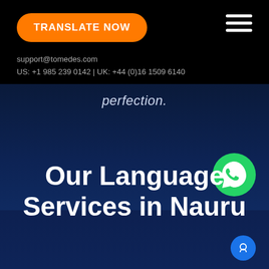[Figure (logo): Orange rounded rectangle button with white bold uppercase text TRANSLATE NOW]
[Figure (other): Hamburger menu icon with three white horizontal lines on black background]
support@tomedes.com
US: +1 985 239 0142 | UK: +44 (0)16 1509 6140
perfection.
Our Language Services in Nauru
[Figure (other): WhatsApp green circle icon with phone handset]
[Figure (other): Blue circle chat button at bottom right]